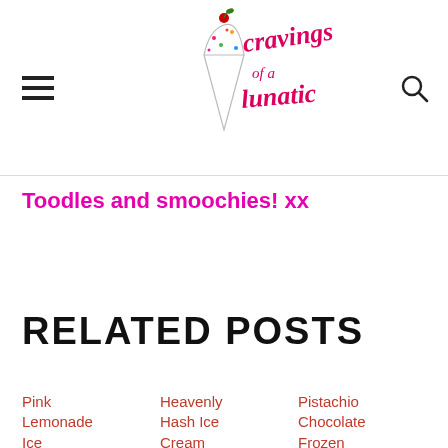Cravings of a Lunatic
Toodles and smoochies! xx
RELATED POSTS
Pink Lemonade Ice
Heavenly Hash Ice Cream
Pistachio Chocolate Frozen Mousse